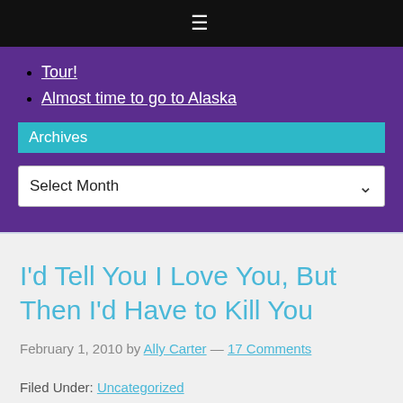≡
Tour!
Almost time to go to Alaska
Archives
Select Month
I'd Tell You I Love You, But Then I'd Have to Kill You
February 1, 2010 by Ally Carter — 17 Comments
Filed Under: Uncategorized
Comments